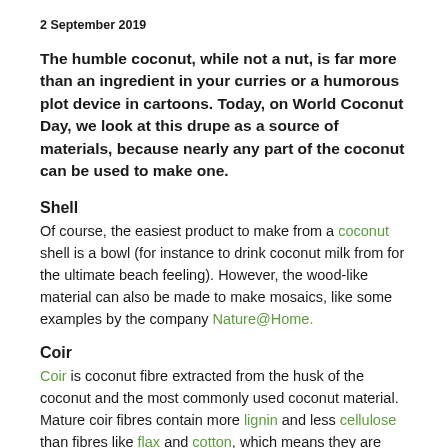2 September 2019
The humble coconut, while not a nut, is far more than an ingredient in your curries or a humorous plot device in cartoons. Today, on World Coconut Day, we look at this drupe as a source of materials, because nearly any part of the coconut can be used to make one.
Shell
Of course, the easiest product to make from a coconut shell is a bowl (for instance to drink coconut milk from for the ultimate beach feeling). However, the wood-like material can also be made to make mosaics, like some examples by the company Nature@Home.
Coir
Coir is coconut fibre extracted from the husk of the coconut and the most commonly used coconut material. Mature coir fibres contain more lignin and less cellulose than fibres like flax and cotton, which means they are stronger but less flexible. Coir is one of the few natural